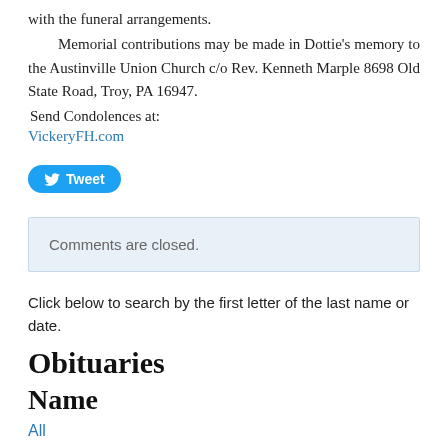with the funeral arrangements.
Memorial contributions may be made in Dottie's memory to the Austinville Union Church c/o Rev. Kenneth Marple 8698 Old State Road, Troy, PA 16947.
Send Condolences at:
VickeryFH.com
[Figure (other): Twitter Tweet button with bird logo]
Comments are closed.
Click below to search by the first letter of the last name or date.
Obituaries
Name
All
A
B
C